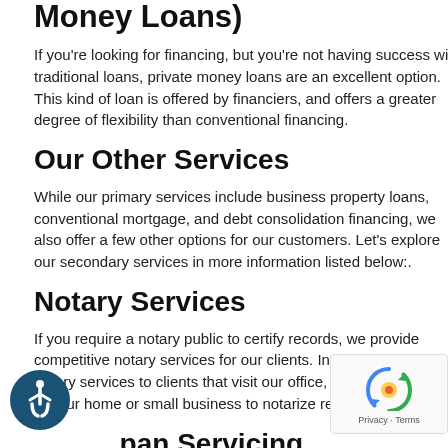Money Loans)
If you're looking for financing, but you're not having success with traditional loans, private money loans are an excellent option. This kind of loan is offered by financiers, and offers a greater degree of flexibility than conventional financing.
Our Other Services
While our primary services include business property loans, conventional mortgage, and debt consolidation financing, we also offer a few other options for our customers. Let's explore our secondary services in more information listed below:.
Notary Services
If you require a notary public to certify records, we provide competitive notary services for our clients. In addition to offering notary services to clients that visit our office, we can also travel to your home or small business to notarize records.
Loan Servicing
Unlike other lending institutions, we supply loan servicing to